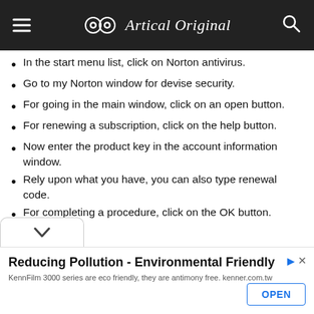Artical Original
In the start menu list, click on Norton antivirus.
Go to my Norton window for devise security.
For going in the main window, click on an open button.
For renewing a subscription, click on the help button.
Now enter the product key in the account information window.
Rely upon what you have, you can also type renewal code.
For completing a procedure, click on the OK button.
Reducing Pollution - Environmental Friendly
KennFilm 3000 series are eco friendly, they are antimony free. kenner.com.tw